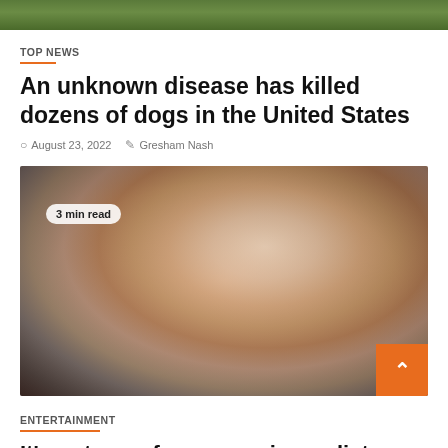[Figure (photo): Blurred outdoor greenery image at the top of the page]
TOP NEWS
An unknown disease has killed dozens of dogs in the United States
August 23, 2022   Gresham Nash
[Figure (photo): Close-up blurred photo of a woman with short grey hair, mouth slightly open, looking upward. A badge reads '3 min read'.]
ENTERTAINMENT
It's not easy for women journalists on TV